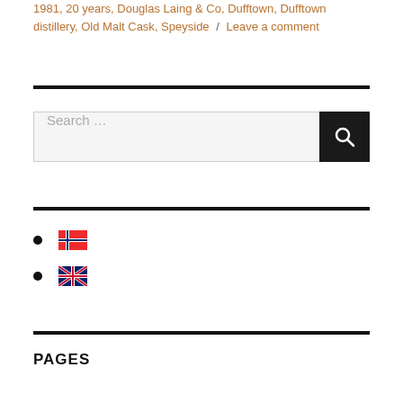1981, 20 years, Douglas Laing & Co, Dufftown, Dufftown distillery, Old Malt Cask, Speyside / Leave a comment
[Figure (screenshot): Search input box with placeholder text 'Search ...' and a black search button with magnifying glass icon]
Norwegian flag icon
UK flag icon
PAGES